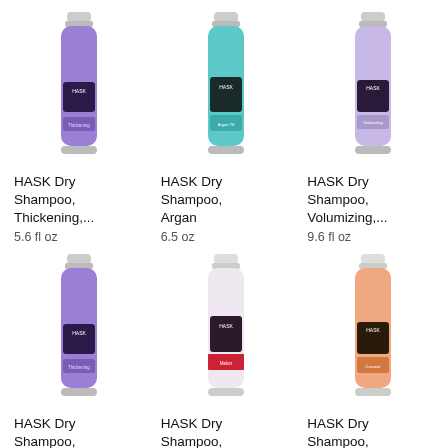[Figure (photo): HASK Dry Shampoo Thickening purple aerosol can]
HASK Dry Shampoo, Thickening,...
5.6 fl oz
[Figure (photo): HASK Dry Shampoo Argan teal/cyan aerosol can]
HASK Dry Shampoo, Argan
6.5 oz
[Figure (photo): HASK Dry Shampoo Volumizing light purple aerosol can]
HASK Dry Shampoo, Volumizing,...
9.6 fl oz
[Figure (photo): HASK Dry Shampoo Thickening purple aerosol can]
HASK Dry Shampoo, Thickening,...
6.5 oz
[Figure (photo): HASK Dry Shampoo Melon white aerosol can with red label]
HASK Dry Shampoo, Melon
6.5 oz
[Figure (photo): HASK Dry Shampoo Monoi Coconut peach/orange aerosol can]
HASK Dry Shampoo, Monoi Coconut
9.6 fl oz